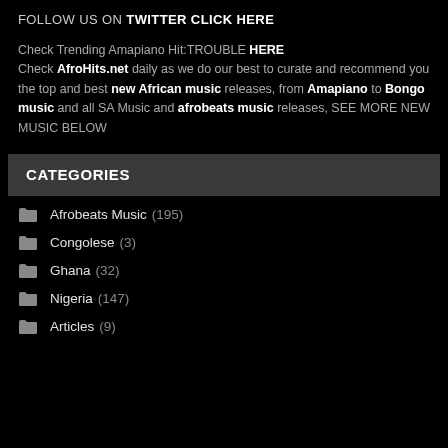FOLLOW US ON TWITTER CLICK HERE
Check Trending Amapiano Hit:TROUBLE HERE
Check AfroHits.net daily as we do our best to curate and recommend you the top and best new African music releases, from Amapiano to Bongo music and all SA Music and afrobeats music releases, SEE MORE NEW MUSIC BELOW
CATEGORIES
Afrobeats Music (195)
Congolese (3)
Ghana (32)
Nigeria (147)
Articles (9)